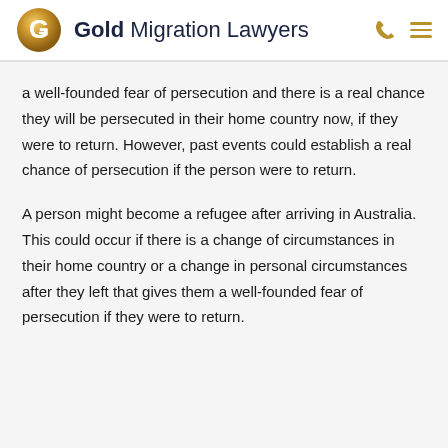Gold Migration Lawyers
a well-founded fear of persecution and there is a real chance they will be persecuted in their home country now, if they were to return. However, past events could establish a real chance of persecution if the person were to return.
A person might become a refugee after arriving in Australia. This could occur if there is a change of circumstances in their home country or a change in personal circumstances after they left that gives them a well-founded fear of persecution if they were to return.